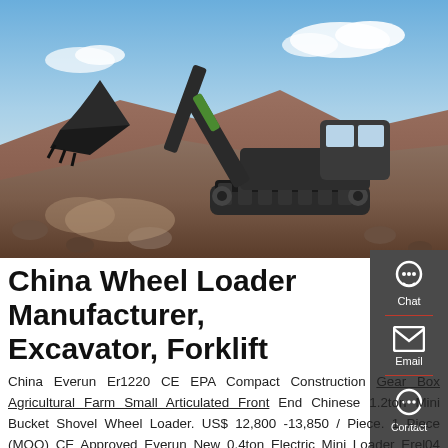[Figure (photo): Excavator operating on rocky terrain with blue sky background. Green and black tracked excavator with large bucket arm digging into rocky hillside.]
China Wheel Loader Manufacturer, Excavator, Forklift
China Everun Er1220 CE EPA Compact Construction Gear Box Agricultural Farm Small Articulated Front End Chinese 1.2ton Mini Bucket Shovel Wheel Loader. US$ 12,800 -13,850 / Piece. 1 Piece (MOQ) CE Approved Everun New 0.4ton Electric Mini Loader Erel04 Small Wheel Loader with Battery. US$ 4,200 -4,600 / Units.